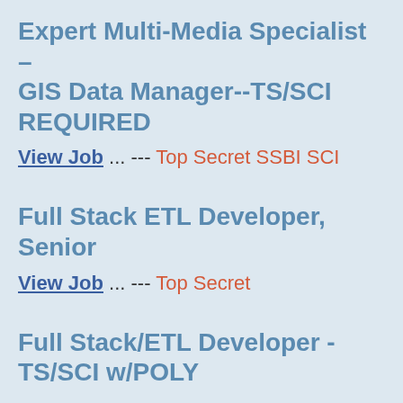Expert Multi-Media Specialist – GIS Data Manager--TS/SCI REQUIRED
View Job ... --- Top Secret SSBI SCI
Full Stack ETL Developer, Senior
View Job ... --- Top Secret
Full Stack/ETL Developer - TS/SCI w/POLY